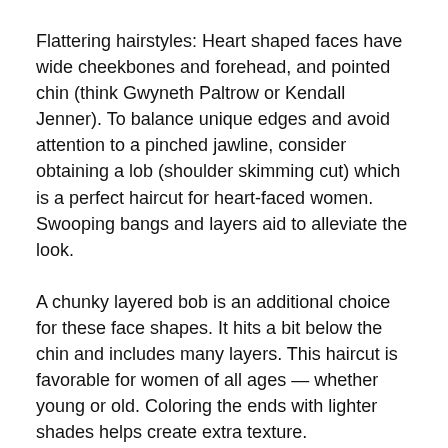Flattering hairstyles: Heart shaped faces have wide cheekbones and forehead, and pointed chin (think Gwyneth Paltrow or Kendall Jenner). To balance unique edges and avoid attention to a pinched jawline, consider obtaining a lob (shoulder skimming cut) which is a perfect haircut for heart-faced women. Swooping bangs and layers aid to alleviate the look.
A chunky layered bob is an additional choice for these face shapes. It hits a bit below the chin and includes many layers. This haircut is favorable for women of all ages — whether young or old. Coloring the ends with lighter shades helps create extra texture.
How to style it: Opt for beachy waves to achieve that effortless boho appeal, and add sideswept bangs which will